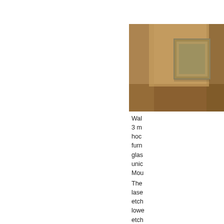[Figure (photo): Photograph of a wall or display in a dimly lit room with warm brown/amber tones, showing a framed item mounted on the wall.]
Wal 3 m hoc furn glas unic Mou
The lase etch lowe etch